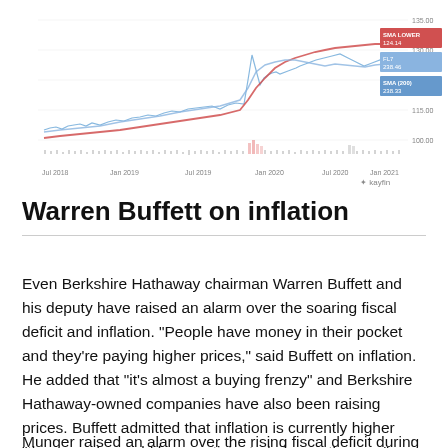[Figure (continuous-plot): Stock price line chart showing price trends from Jul 2018 to Jan 2021, with two SMA lines (red and blue) and a volume histogram at the bottom. Legend shows SMA values. Data from Kayfin.]
Warren Buffett on inflation
Even Berkshire Hathaway chairman Warren Buffett and his deputy have raised an alarm over the soaring fiscal deficit and inflation. “People have money in their pocket and they’re paying higher prices,” said Buffett on inflation. He added that “it’s almost a buying frenzy” and Berkshire Hathaway-owned companies have also been raising prices. Buffett admitted that inflation is currently higher “than people would have anticipated six months ago.”
Munger raised an alarm over the rising fiscal deficit during